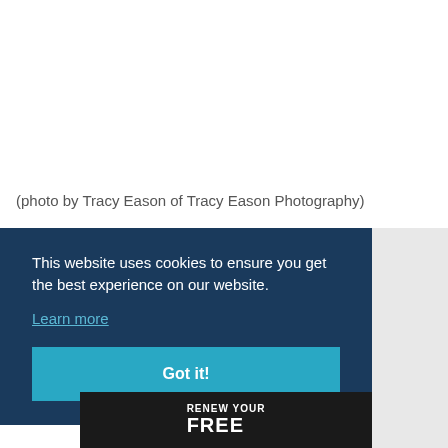(photo by Tracy Eason of Tracy Eason Photography)
This website uses cookies to ensure you get the best experience on our website.
Learn more
Got it!
[Figure (photo): Partial image strip at bottom showing text 'RENEW YOUR FREE' with dark background and colorful imagery on the right side]